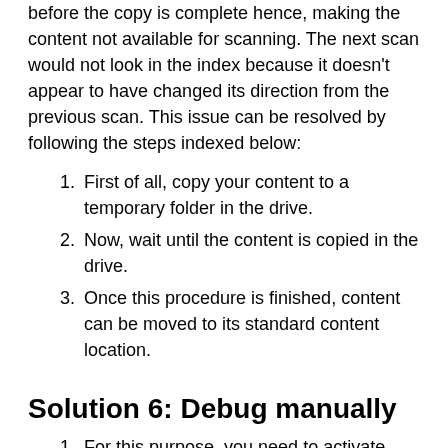before the copy is complete hence, making the content not available for scanning. The next scan would not look in the index because it doesn't appear to have changed its direction from the previous scan. This issue can be resolved by following the steps indexed below:
First of all, copy your content to a temporary folder in the drive.
Now, wait until the content is copied in the drive.
Once this procedure is finished, content can be moved to its standard content location.
Solution 6: Debug manually
For this purpose, you need to activate debug logging and once it is activated, quit the plex server currently running.
Now be patient and wait for approximately 1-2